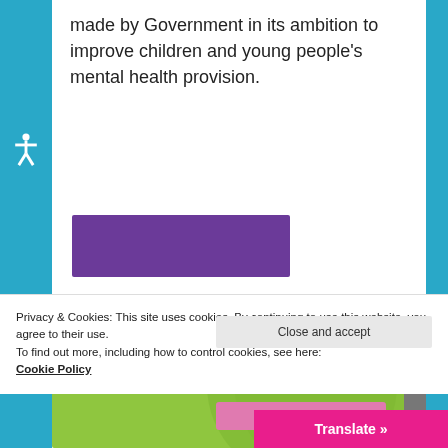made by Government in its ambition to improve children and young people's mental health provision.
[Figure (illustration): Purple rectangular button element]
[Figure (illustration): Green banner section with circular overlapping shapes and a pink/purple tablet device bar]
Privacy & Cookies: This site uses cookies. By continuing to use this website, you agree to their use.
To find out more, including how to control cookies, see here:
Cookie Policy
Close and accept
Translate »